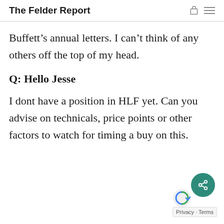The Felder Report
Buffett’s annual letters. I can’t think of any others off the top of my head.
Q: Hello Jesse
I dont have a position in HLF yet. Can you advise on technicals, price points or other factors to watch for timing a buy on this.